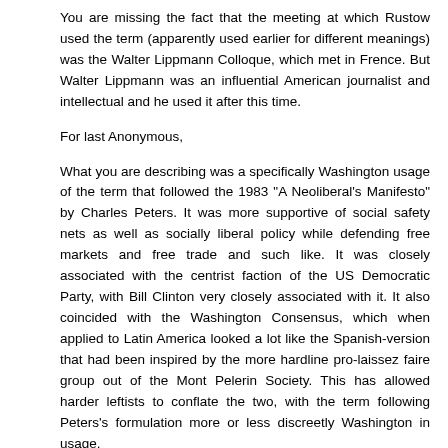You are missing the fact that the meeting at which Rustow used the term (apparently used earlier for different meanings) was the Walter Lippmann Colloque, which met in Frence. But Walter Lippmann was an influential American journalist and intellectual and he used it after this time.
For last Anonymous,
What you are describing was a specifically Washington usage of the term that followed the 1983 "A Neoliberal's Manifesto" by Charles Peters. It was more supportive of social safety nets as well as socially liberal policy while defending free markets and free trade and such like. It was closely associated with the centrist faction of the US Democratic Party, with Bill Clinton very closely associated with it. It also coincided with the Washington Consensus, which when applied to Latin America looked a lot like the Spanish-version that had been inspired by the more hardline pro-laissez faire group out of the Mont Pelerin Society. This has allowed harder leftists to conflate the two, with the term following Peters's formulation more or less discreetly Washington in usage.